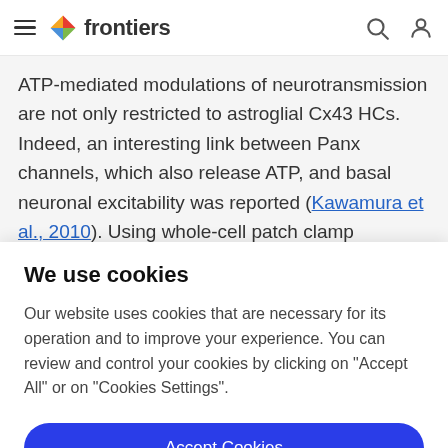frontiers
ATP-mediated modulations of neurotransmission are not only restricted to astroglial Cx43 HCs. Indeed, an interesting link between Panx channels, which also release ATP, and basal neuronal excitability was reported (Kawamura et al., 2010). Using whole-cell patch clamp
We use cookies
Our website uses cookies that are necessary for its operation and to improve your experience. You can review and control your cookies by clicking on "Accept All" or on "Cookies Settings".
Accept Cookies
Cookies Settings